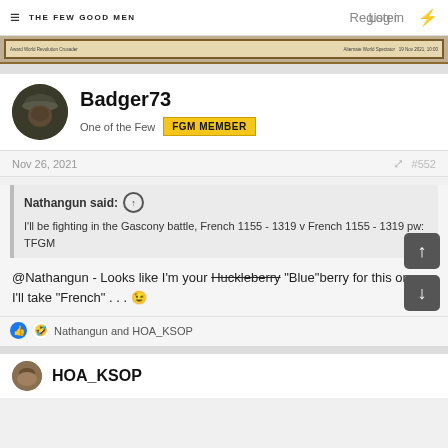THE FEW GOOD MEN | Log in  Register
[Figure (screenshot): Partial banner/image from the website, showing card-like content with small text]
Badger73
One of the Few  FGM MEMBER
Nov 26, 2021  #552
Nathangun said: ↑
I'll be fighting in the Gascony battle, French 1155 - 1319 v French 1155 - 1319 pw: TFGM
@Nathangun - Looks like I'm your Huckleberry "Blue"berry for this one. I'll take "French" . . . 😉
👍 🤣 Nathangun and HOA_KSOP
HOA_KSOP